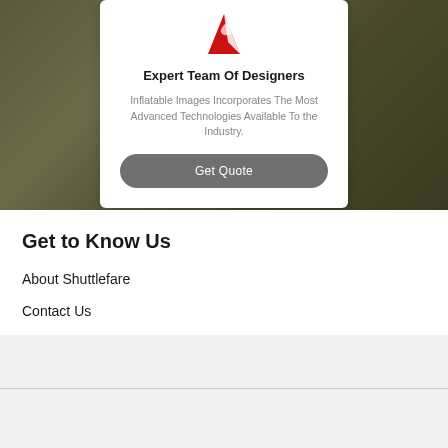[Figure (logo): Red and white swoosh/flame logo icon for Inflatable Images]
Expert Team Of Designers
Inflatable Images Incorporates The Most Advanced Technologies Available To the Industry.
Get Quote
Get to Know Us
About Shuttlefare
Contact Us